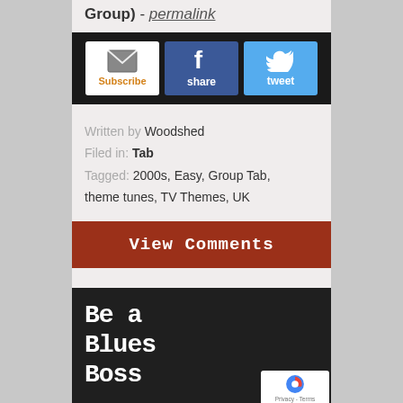Group) - permalink
[Figure (infographic): Social sharing bar with three buttons: Subscribe (email, white background, orange label), share (Facebook, blue background, white 'f' icon), tweet (Twitter, light blue background, bird icon)]
Written by Woodshed
Filed in: Tab
Tagged: 2000s, Easy, Group Tab, theme tunes, TV Themes, UK
View Comments
Be a Blues Boss